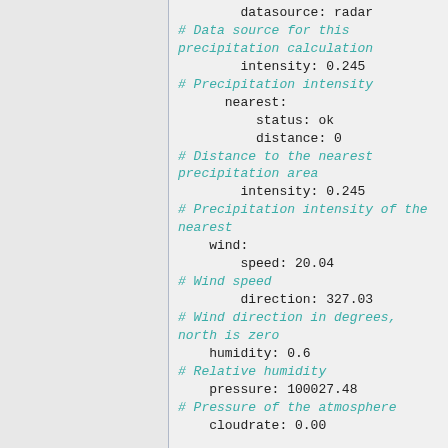datasource: radar
# Data source for this precipitation calculation
intensity: 0.245
# Precipitation intensity
nearest:
  status: ok
  distance: 0
# Distance to the nearest precipitation area
intensity: 0.245
# Precipitation intensity of the nearest
wind:
  speed: 20.04
# Wind speed
  direction: 327.03
# Wind direction in degrees, north is zero
humidity: 0.6
# Relative humidity
pressure: 100027.48
# Pressure of the atmosphere
cloudrate: 0.00